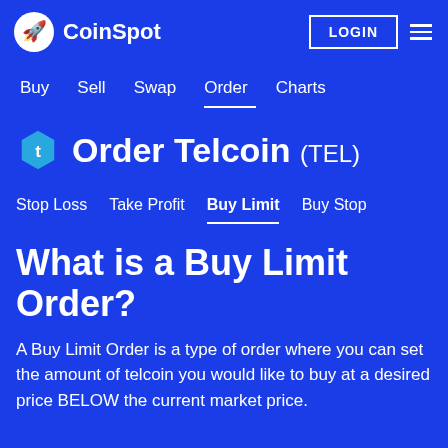CoinSpot
Buy
Sell
Swap
Order
Charts
Order Telcoin (TEL)
Stop Loss
Take Profit
Buy Limit
Buy Stop
What is a Buy Limit Order?
A Buy Limit Order is a type of order where you can set the amount of telcoin you would like to buy at a desired price BELOW the current market price.